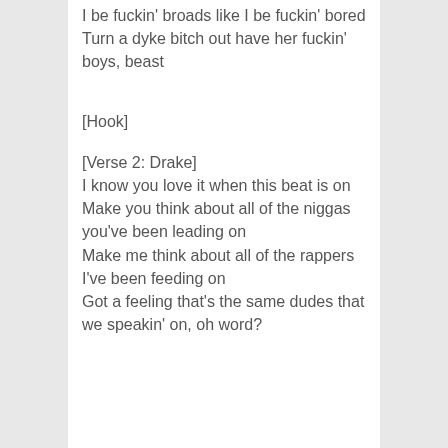I be fuckin' broads like I be fuckin' bored
Turn a dyke bitch out have her fuckin' boys, beast
[Hook]
[Verse 2: Drake]
I know you love it when this beat is on
Make you think about all of the niggas you've been leading on
Make me think about all of the rappers I've been feeding on
Got a feeling that's the same dudes that we speakin' on, oh word?